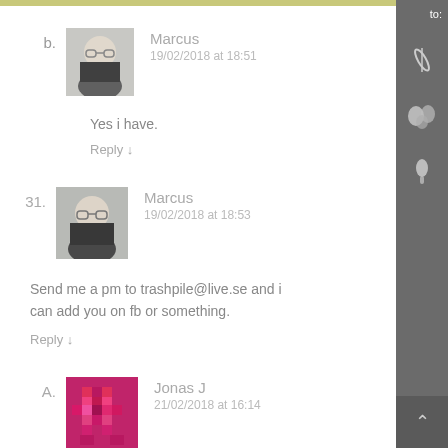b. Marcus 19/02/2018 at 18:51 Yes i have. Reply ↓
31. Marcus 19/02/2018 at 18:53 Send me a pm to trashpile@live.se and i can add you on fb or something. Reply ↓
A. Jonas J 21/02/2018 at 16:14 Marri did you receive my email with the...